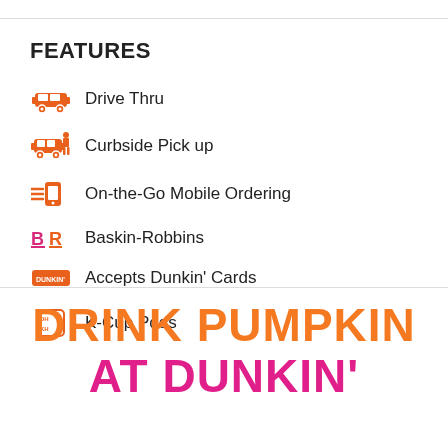FEATURES
Drive Thru
Curbside Pick up
On-the-Go Mobile Ordering
Baskin-Robbins
Accepts Dunkin' Cards
K-Cup Pods
DRINK PUMPKIN AT DUNKIN'